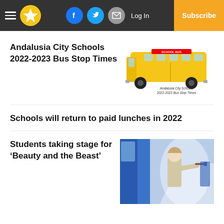Andalusia City Schools 2022-2023 Bus Stop Times | Schools will return to paid lunches in 2022 | Students taking stage for 'Beauty and the Beast'
Andalusia City Schools 2022-2023 Bus Stop Times
[Figure (illustration): Yellow school bus with text 'Andalusia City Schools 2022-2023 Bus Stop Times']
Schools will return to paid lunches in 2022
Students taking stage for ‘Beauty and the Beast’
[Figure (photo): Young girl painting a mural in blue and white, set design for a theatrical production]